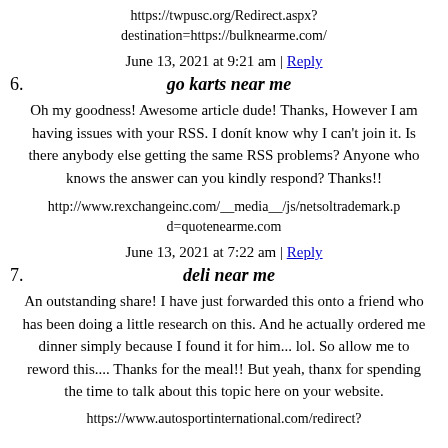https://twpusc.org/Redirect.aspx?destination=https://bulknearme.com/
June 13, 2021 at 9:21 am | Reply
6. go karts near me
Oh my goodness! Awesome article dude! Thanks, However I am having issues with your RSS. I donít know why I can't join it. Is there anybody else getting the same RSS problems? Anyone who knows the answer can you kindly respond? Thanks!!
http://www.rexchangeinc.com/__media__/js/netsoltrademark.pd=quotenearme.com
June 13, 2021 at 7:22 am | Reply
7. deli near me
An outstanding share! I have just forwarded this onto a friend who has been doing a little research on this. And he actually ordered me dinner simply because I found it for him... lol. So allow me to reword this.... Thanks for the meal!! But yeah, thanx for spending the time to talk about this topic here on your website.
https://www.autosportinternational.com/redirect?